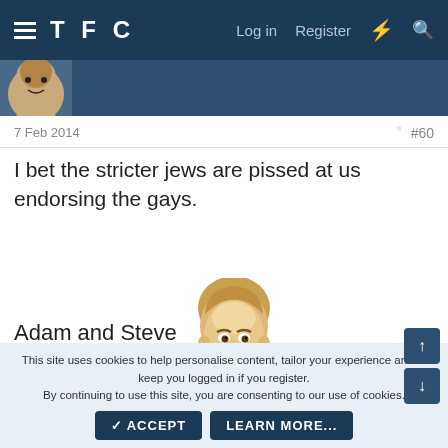TFC  Log in  Register
7 Feb 2014  #60
I bet the stricter jews are pissed at us endorsing the gays.
Adam and Steve
[Figure (illustration): Cartoon face of a man (Alan Partridge meme) with blonde hair and a surprised/concerned expression]
2
This site uses cookies to help personalise content, tailor your experience and to keep you logged in if you register.
By continuing to use this site, you are consenting to our use of cookies.
✓ ACCEPT    LEARN MORE...